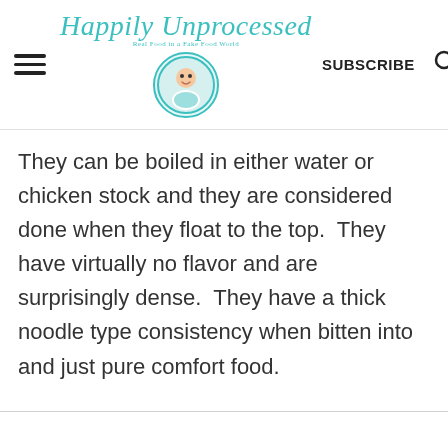Happily Unprocessed — SUBSCRIBE
They can be boiled in either water or chicken stock and they are considered done when they float to the top.  They have virtually no flavor and are surprisingly dense.  They have a thick noodle type consistency when bitten into and just pure comfort food.